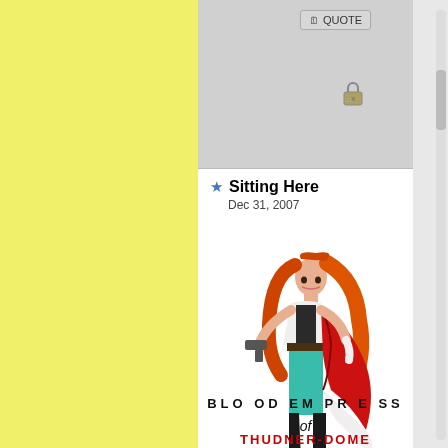[Figure (screenshot): Yellow sidebar on the left portion of the page, gray panel on the right with forum-style post interface]
QUOTE
Sitting Here
Dec 31, 2007
[Figure (illustration): Female character with long red/orange hair, wearing teal pants, black boots, white blouse, dark vest, and a flowing red and dark cape, holding a gun, depicted in a comic/game art style]
BLO OD EM PR E SS
of
THUDNER-DOME